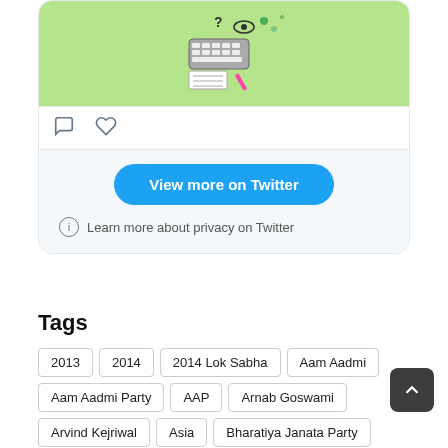[Figure (screenshot): Twitter embed card showing a green banner image with icons (keyboard, eye, question mark, etc.), comment and like action icons, a 'View more on Twitter' blue button, and a 'Learn more about privacy on Twitter' link]
Tags
2013
2014
2014 Lok Sabha
Aam Aadmi
Aam Aadmi Party
AAP
Arnab Goswami
Arvind Kejriwal
Asia
Bharatiya Janata Party